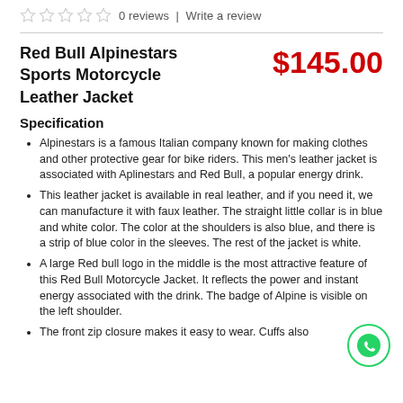0 reviews | Write a review
Red Bull Alpinestars Sports Motorcycle Leather Jacket
$145.00
Specification
Alpinestars is a famous Italian company known for making clothes and other protective gear for bike riders. This men's leather jacket is associated with Aplinestars and Red Bull, a popular energy drink.
This leather jacket is available in real leather, and if you need it, we can manufacture it with faux leather. The straight little collar is in blue and white color. The color at the shoulders is also blue, and there is a strip of blue color in the sleeves. The rest of the jacket is white.
A large Red bull logo in the middle is the most attractive feature of this Red Bull Motorcycle Jacket. It reflects the power and instant energy associated with the drink. The badge of Alpine is visible on the left shoulder.
The front zip closure makes it easy to wear. Cuffs also